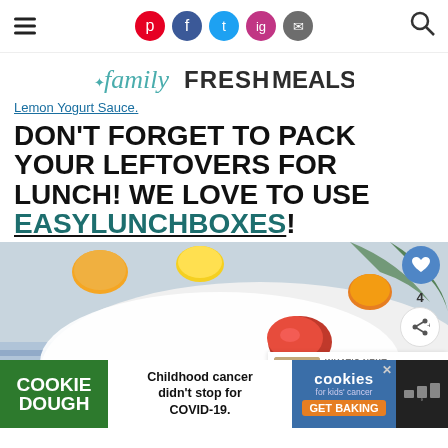familyFRESHMEALS website header with social icons and search
Lemon Yogurt Sauce.
DON'T FORGET TO PACK YOUR LEFTOVERS FOR LUNCH! WE LOVE TO USE EASYLUNCHBOXES!
[Figure (photo): Close-up photo of cherry tomatoes (red and orange) on a white hexagonal plate with a blue striped cloth napkin. A 'What's Next' widget shows Reuben Pasta Salad thumbnail. Social share buttons and heart icon float on the right side.]
[Figure (screenshot): Advertisement banner: Cookie Dough - Childhood cancer didn't stop for COVID-19 - cookies for kids cancer GET BAKING]